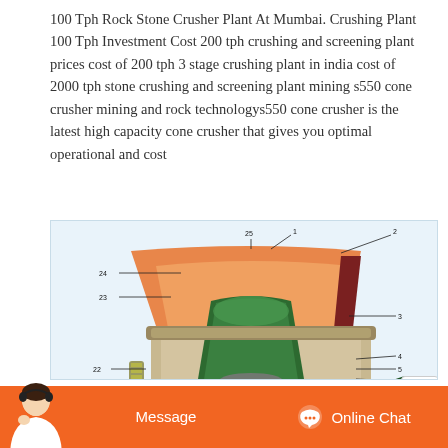100 Tph Rock Stone Crusher Plant At Mumbai. Crushing Plant 100 Tph Investment Cost 200 tph crushing and screening plant prices cost of 200 tph 3 stage crushing plant in india cost of 2000 tph stone crushing and screening plant mining s550 cone crusher mining and rock technologys550 cone crusher is the latest high capacity cone crusher that gives you optimal operational and cost
[Figure (engineering-diagram): Cross-sectional engineering diagram of a cone crusher (s550 style) showing numbered internal components 1-25, including orange bowl/mantle, green internal frame, crusher head, gears, hydraulic cylinders, and drive belt. Component numbers labeled with leader lines on both left and right sides of the cutaway diagram.]